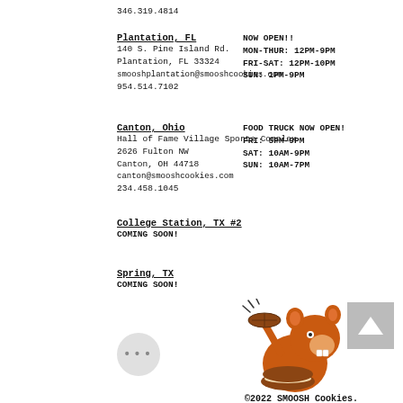346.319.4814
Plantation, FL
140 S. Pine Island Rd.
Plantation, FL 33324
smooshplantation@smooshcookies.com
954.514.7102
NOW OPEN!!
MON-THUR: 12PM-9PM
FRI-SAT: 12PM-10PM
SUN: 1PM-9PM
Canton, Ohio
Hall of Fame Village Sports Complex
2626 Fulton NW
Canton, OH 44718
canton@smooshcookies.com
234.458.1045
FOOD TRUCK NOW OPEN!
FRI: 5PM-9PM
SAT: 10AM-9PM
SUN: 10AM-7PM
College Station, TX #2
COMING SOON!
Spring, TX
COMING SOON!
[Figure (illustration): Cartoon beaver mascot holding a large cookie sandwich, with motion lines. Below it says ©2022 SMOOSH Cookies.]
©2022 SMOOSH Cookies.